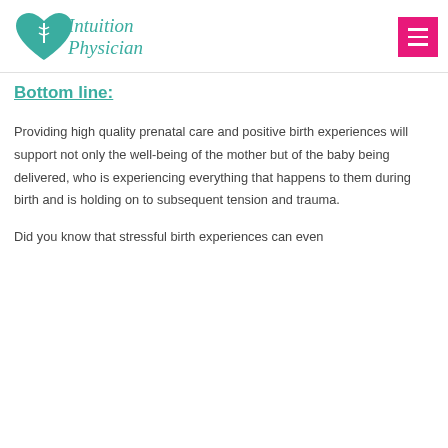Intuition Physician
Bottom line:
Providing high quality prenatal care and positive birth experiences will support not only the well-being of the mother but of the baby being delivered, who is experiencing everything that happens to them during birth and is holding on to subsequent tension and trauma.
Did you know that stressful birth experiences can even